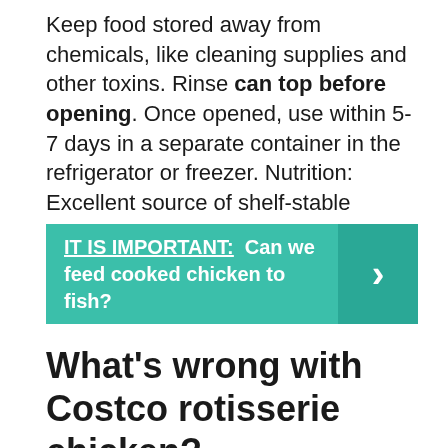Keep food stored away from chemicals, like cleaning supplies and other toxins. Rinse can top before opening. Once opened, use within 5-7 days in a separate container in the refrigerator or freezer. Nutrition: Excellent source of shelf-stable protein.
[Figure (infographic): Teal banner with white bold text: IT IS IMPORTANT: Can we feed cooked chicken to fish? and a darker teal arrow button on the right.]
What’s wrong with Costco rotisserie chicken?
Costco’s Rotisserie Chicken
But while roasted rotisserie chickens are